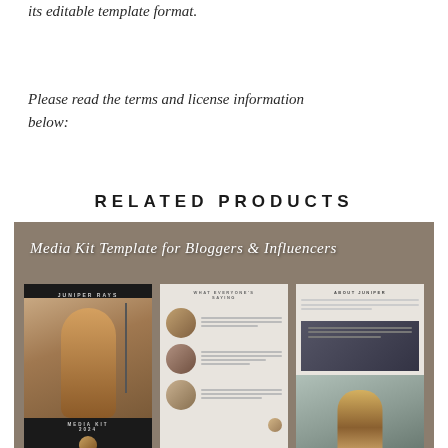its editable template format.
Please read the terms and license information below:
RELATED PRODUCTS
[Figure (photo): Product preview image showing Media Kit Template for Bloggers & Influencers with three panel pages displayed on a brown/taupe background with script title text overlay]